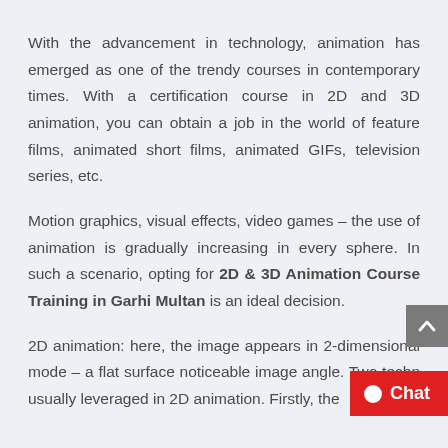With the advancement in technology, animation has emerged as one of the trendy courses in contemporary times. With a certification course in 2D and 3D animation, you can obtain a job in the world of feature films, animated short films, animated GIFs, television series, etc.
Motion graphics, visual effects, video games – the use of animation is gradually increasing in every sphere. In such a scenario, opting for 2D & 3D Animation Course Training in Garhi Multan is an ideal decision.
2D animation: here, the image appears in 2-dimensional mode – a flat surface noticeable image angle. Two tech usually leveraged in 2D animation. Firstly, the